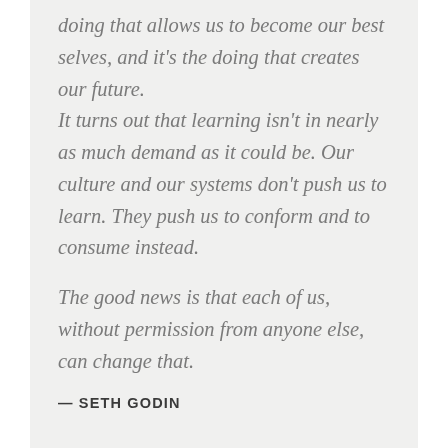doing that allows us to become our best selves, and it's the doing that creates our future.

It turns out that learning isn't in nearly as much demand as it could be. Our culture and our systems don't push us to learn. They push us to conform and to consume instead.

The good news is that each of us, without permission from anyone else, can change that.
— SETH GODIN
A timely, inspirational post from the always readable (and listen-worthy) Seth Godin.